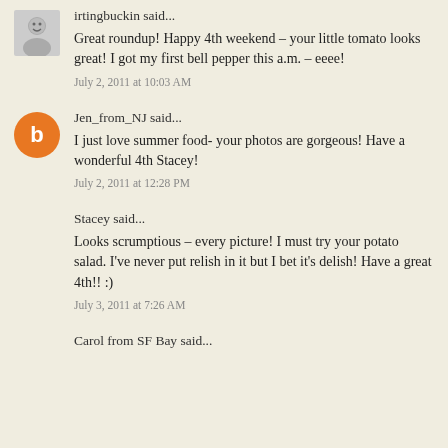irtingbuckin said...
Great roundup! Happy 4th weekend – your little tomato looks great! I got my first bell pepper this a.m. – eeee!
July 2, 2011 at 10:03 AM
Jen_from_NJ said...
I just love summer food- your photos are gorgeous! Have a wonderful 4th Stacey!
July 2, 2011 at 12:28 PM
Stacey said...
Looks scrumptious – every picture! I must try your potato salad. I've never put relish in it but I bet it's delish! Have a great 4th!! :)
July 3, 2011 at 7:26 AM
Carol from SF Bay said...